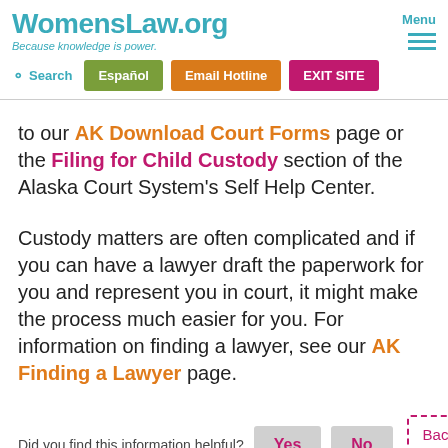WomensLaw.org — Because knowledge is power. Menu
Search | Español | Email Hotline | EXIT SITE
to our AK Download Court Forms page or the Filing for Child Custody section of the Alaska Court System's Self Help Center.
Custody matters are often complicated and if you can have a lawyer draft the paperwork for you and represent you in court, it might make the process much easier for you. For information on finding a lawyer, see our AK Finding a Lawyer page.
Did you find this information helpful? Yes No Back to top